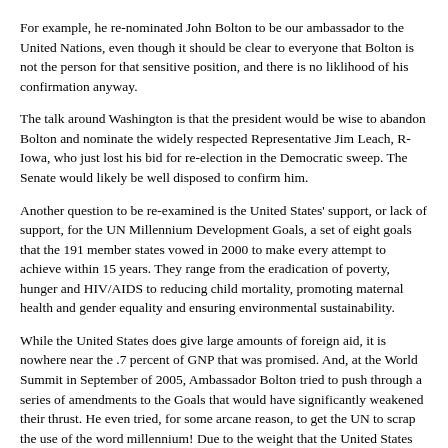For example, he re-nominated John Bolton to be our ambassador to the United Nations, even though it should be clear to everyone that Bolton is not the person for that sensitive position, and there is no liklihood of his confirmation anyway.
The talk around Washington is that the president would be wise to abandon Bolton and nominate the widely respected Representative Jim Leach, R-Iowa, who just lost his bid for re-election in the Democratic sweep. The Senate would likely be well disposed to confirm him.
Another question to be re-examined is the United States' support, or lack of support, for the UN Millennium Development Goals, a set of eight goals that the 191 member states vowed in 2000 to make every attempt to achieve within 15 years. They range from the eradication of poverty, hunger and HIV/AIDS to reducing child mortality, promoting maternal health and gender equality and ensuring environmental sustainability.
While the United States does give large amounts of foreign aid, it is nowhere near the .7 percent of GNP that was promised. And, at the World Summit in September of 2005, Ambassador Bolton tried to push through a series of amendments to the Goals that would have significantly weakened their thrust. He even tried, for some arcane reason, to get the UN to scrap the use of the word millennium! Due to the weight that the United States carries in the UN, some of his amendments did pass, but fortunately he was unable to do as much damage as he sought to do.
Why is another question: it almost seemed like the Bush administration went out of its way to obviate anything that was accomplished during the preceeding Clinton administration, like the Millennium Goals and the Kyoto